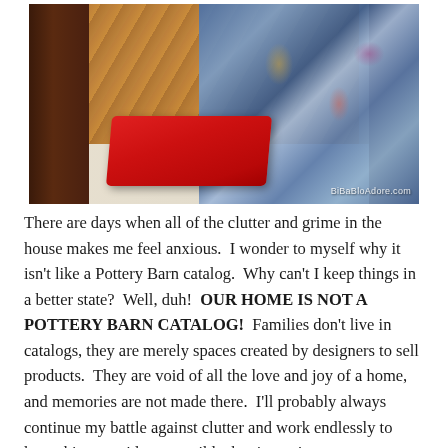[Figure (photo): Indoor photo showing a bed or couch with a decorative blue and gold paisley throw/blanket draped over it, a red rectangular tray/mat on the floor, dark wood furniture on the sides, and a light colored carpet. Watermark reads 'BiBaBloAdore.com' in the bottom right corner.]
There are days when all of the clutter and grime in the house makes me feel anxious.  I wonder to myself why it isn't like a Pottery Barn catalog.  Why can't I keep things in a better state?  Well, duh!  OUR HOME IS NOT A POTTERY BARN CATALOG!  Families don't live in catalogs, they are merely spaces created by designers to sell products.  They are void of all the love and joy of a home, and memories are not made there.  I'll probably always continue my battle against clutter and work endlessly to keep things as tidy as possible, but it won't